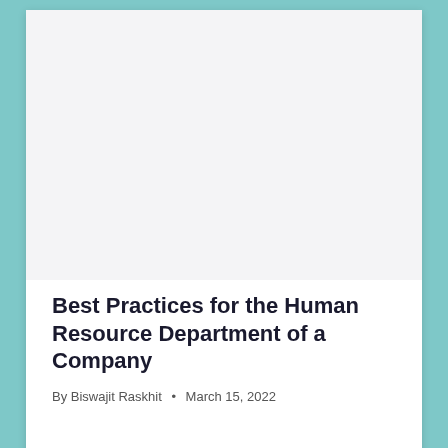[Figure (other): Large light gray placeholder image area at the top of the article card]
Best Practices for the Human Resource Department of a Company
By Biswajit Raskhit • March 15, 2022